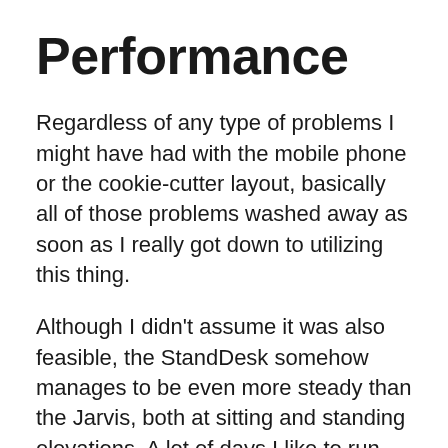Performance
Regardless of any type of problems I might have had with the mobile phone or the cookie-cutter layout, basically all of those problems washed away as soon as I really got down to utilizing this thing.
Although I didn't assume it was also feasible, the StandDesk somehow manages to be even more steady than the Jarvis, both at sitting and standing elevations. A lot of days I like to run my Jarvis at max height while pressed against my wall surface; not necessarily since it's that shaky, yet just because I desire as much security as I can get.